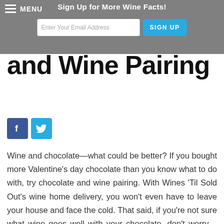MENU | Sign Up for More Wine Facts! | Enter Your Email Address | SIGN UP
and Wine Pairing
[Figure (logo): Facebook and Twitter social share buttons]
Wine and chocolate—what could be better? If you bought more Valentine's day chocolate than you know what to do with, try chocolate and wine pairing. With Wines 'Til Sold Out's wine home delivery, you won't even have to leave your house and face the cold. That said, if you're not sure what wine goes well with your chocolate, don't worry—we'll break down which wines go best with